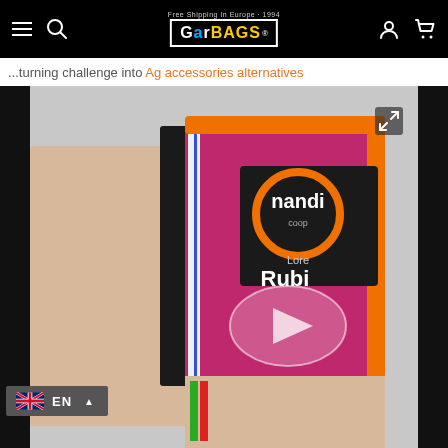GarBags website header with hamburger menu, search icon, GarBags logo, user account icon, and cart icon
...turning challenge into... [partial text with orange link]
[Figure (screenshot): Video player showing a hand holding a colorful Nandi brand bag with orange, pink, and blue accents. A play button overlay is visible in the center. Top right has an expand/fullscreen icon.]
[Figure (screenshot): Language selector widget showing UK flag with 'EN' label and an upward arrow, on dark gray background, positioned bottom-left.]